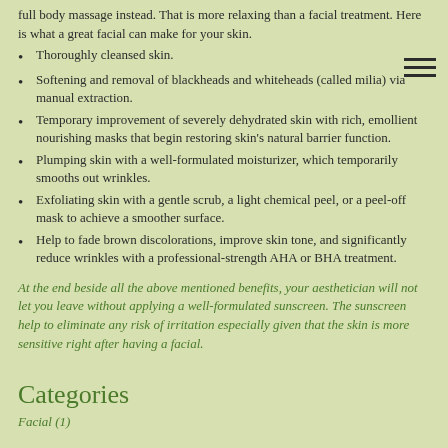full body massage instead. That is more relaxing than a facial treatment. Here is what a great facial can make for your skin.
Thoroughly cleansed skin.
Softening and removal of blackheads and whiteheads (called milia) via manual extraction.
Temporary improvement of severely dehydrated skin with rich, emollient nourishing masks that begin restoring skin's natural barrier function.
Plumping skin with a well-formulated moisturizer, which temporarily smooths out wrinkles.
Exfoliating skin with a gentle scrub, a light chemical peel, or a peel-off mask to achieve a smoother surface.
Help to fade brown discolorations, improve skin tone, and significantly reduce wrinkles with a professional-strength AHA or BHA treatment.
At the end beside all the above mentioned benefits, your aesthetician will not let you leave without applying a well-formulated sunscreen. The sunscreen help to eliminate any risk of irritation especially given that the skin is more sensitive right after having a facial.
Categories
Facial (1)